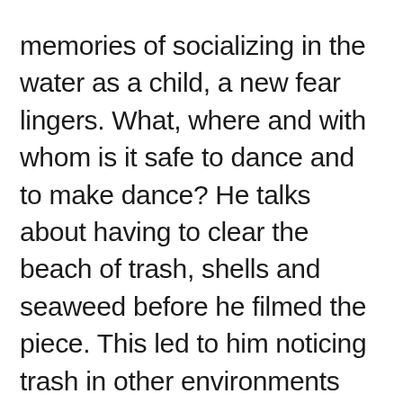memories of socializing in the water as a child, a new fear lingers. What, where and with whom is it safe to dance and to make dance? He talks about having to clear the beach of trash, shells and seaweed before he filmed the piece. This led to him noticing trash in other environments and picking it up. We have been given an opportunity to be aware of the dance environment. Who are we inviting in? Who is showing up and who isn't?
“The Spirit Dance with Me” was shot on a beach in Berkeley (Ohlone lands). You see the outline of San Francisco and the Golden Gate Bridge’s red arches jutting into a sunny sky. With face masks on and in water to their knees, Hunter lifts Jones over his head. Drops